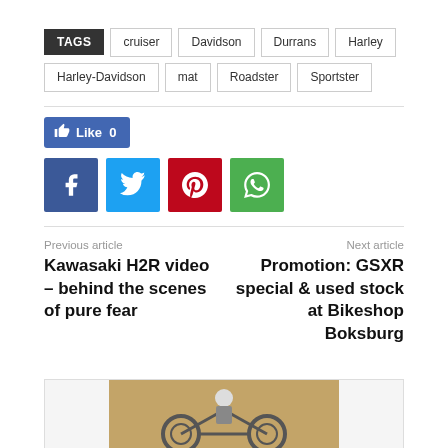TAGS  cruiser  Davidson  Durrans  Harley  Harley-Davidson  mat  Roadster  Sportster
[Figure (infographic): Social sharing buttons: Facebook Like (0), Facebook, Twitter, Pinterest, WhatsApp]
Previous article
Kawasaki H2R video – behind the scenes of pure fear
Next article
Promotion: GSXR special & used stock at Bikeshop Boksburg
[Figure (photo): Partial motorcycle rider photo at bottom of page]